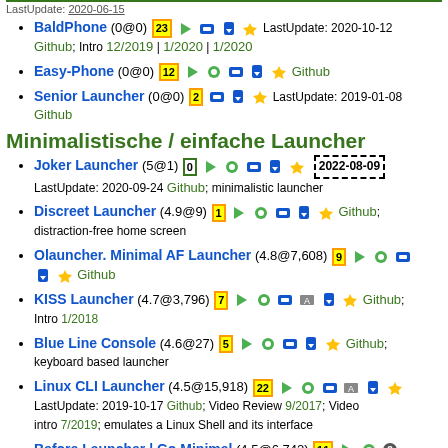LastUpdate: 2020-06-15
BaldPhone (0@0) [23] LastUpdate: 2020-10-12 Github; Intro 12/2019 | 1/2020 | 1/2020
Easy-Phone (0@0) [12] Github
Senior Launcher (0@0) [2] LastUpdate: 2019-01-08 Github
Minimalistische / einfache Launcher
Joker Launcher (5@1) [0] LastUpdate: 2020-09-24 Github; minimalistic launcher 2022-08-09
Discreet Launcher (4.9@9) [1] Github; distraction-free home screen
Olauncher. Minimal AF Launcher (4.8@7,608) [9] Github
KISS Launcher (4.7@3,796) [7] Github; Intro 1/2018
Blue Line Console (4.6@27) [5] Github; keyboard based launcher
Linux CLI Launcher (4.5@15,918) [22] LastUpdate: 2019-10-17 Github; Video Review 9/2017; Video intro 7/2019; emulates a Linux Shell and its interface
Before Launcher | Go Minimal (4.5@6,742) [11] Video Intro 8/2018; minimalistic, distraction-free launcher
Sentien Launcher | Clear focus. (4.5@1,410) [6] LastUpdate: 2021-01-23 Github